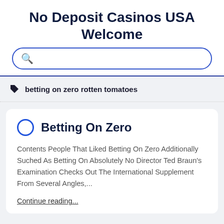No Deposit Casinos USA Welcome
betting on zero rotten tomatoes
Betting On Zero
Contents People That Liked Betting On Zero Additionally Suched As Betting On Absolutely No Director Ted Braun's Examination Checks Out The International Supplement From Several Angles,...
Continue reading...